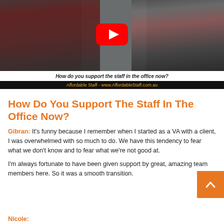[Figure (screenshot): YouTube video thumbnail showing two people (a man on the left in a dark red shirt and a woman on the right) with a YouTube play button in the center. Caption bar reads: 'How do you support the staff in the office now?' and brand bar reads: 'Affordable Staff - www.AffordableStaff.com.au']
How Do You Support The Staff In The Office Now?
Gibran: It's funny because I remember when I started as a VA with a client, I was overwhelmed with so much to do. We have this tendency to fear what we don't know and to fear what we're not good at.
I'm always fortunate to have been given support by great, amazing team members here. So it was a smooth transition.